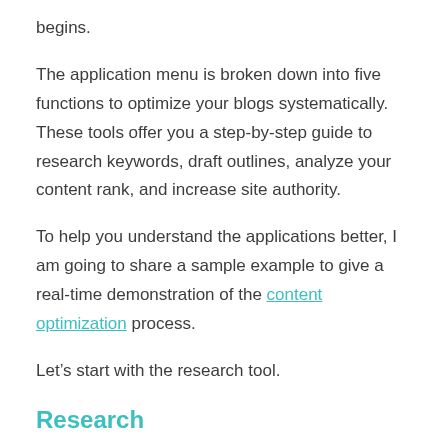begins.
The application menu is broken down into five functions to optimize your blogs systematically. These tools offer you a step-by-step guide to research keywords, draft outlines, analyze your content rank, and increase site authority.
To help you understand the applications better, I am going to share a sample example to give a real-time demonstration of the content optimization process.
Let’s start with the research tool.
Research